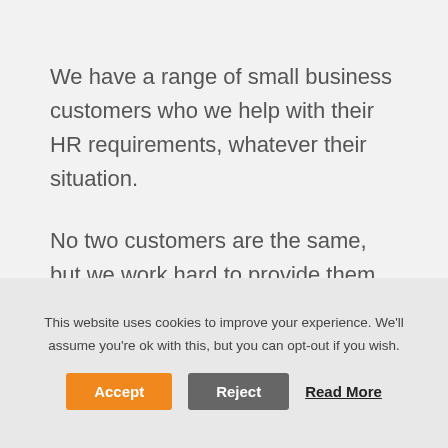We have a range of small business customers who we help with their HR requirements, whatever their situation.

No two customers are the same, but we work hard to provide them with consistently great HR consultancy service.
This website uses cookies to improve your experience. We'll assume you're ok with this, but you can opt-out if you wish.